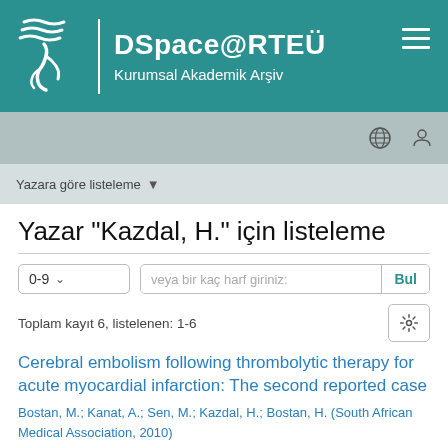DSpace@RTEÜ Kurumsal Akademik Arşiv
Yazara göre listeleme
Yazar "Kazdal, H." için listeleme
0-9  veya bir kaç harf giriniz:  Bul
Toplam kayıt 6, listelenen: 1-6
Cerebral embolism following thrombolytic therapy for acute myocardial infarction: The second reported case
Bostan, M.; Kanat, A.; Sen, M.; Kazdal, H.; Bostan, H. (South African Medical Association, 2010)
ST-elevation myocardial infarction (STEMI), caused by acute occlusion of the infarct-related coronary artery, is an emergency condition. The primary therapy is restoration of full antegrade flow by either